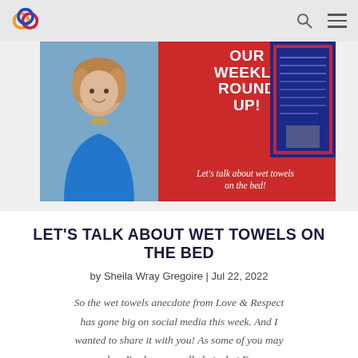Navigation bar with logo and icons
[Figure (photo): Banner image with woman's photo on the left, red background with 'OUR WEEKLY ROUND UP!' text in the center, a blue book on the right, and italic text 'Let's talk about wet towels on the bed!' at the bottom]
LET'S TALK ABOUT WET TOWELS ON THE BED
by Sheila Wray Gregoire | Jul 22, 2022
So the wet towels anecdote from Love & Respect has gone big on social media this week. And I wanted to share it with you! As some of you may remember, I've been appalled at what Emerson